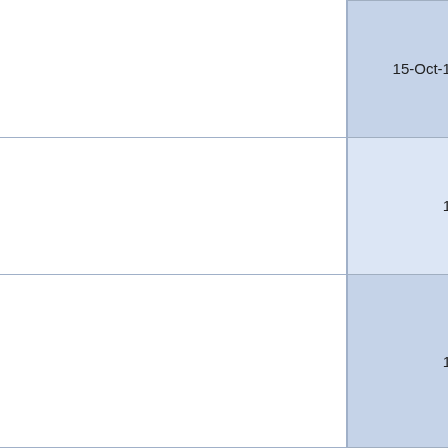|  | Date | Title | Author |
| --- | --- | --- | --- |
|  | 15-Oct-1999 | RESPONSE ANALYSIS IN SPEECH PRESENTATION AS A RESOURCE OF INSTRUCTION | 野村, 敬二; NOMURA, Keiji |
|  | 1729 | Augusta triumphans; or, The way to make London the most florishing city in the universe. 2d ed. | Defoe, Daniel |
|  | 1789 | Authentic copies of Mr. Pitt's letter to His Royal Highness the Prince of Wales, and of His Royal Highness's | Pitt, William |